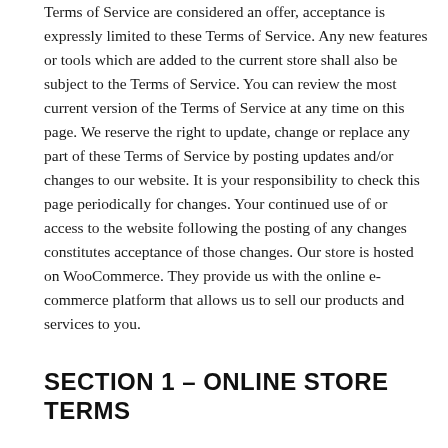Terms of Service are considered an offer, acceptance is expressly limited to these Terms of Service. Any new features or tools which are added to the current store shall also be subject to the Terms of Service. You can review the most current version of the Terms of Service at any time on this page. We reserve the right to update, change or replace any part of these Terms of Service by posting updates and/or changes to our website. It is your responsibility to check this page periodically for changes. Your continued use of or access to the website following the posting of any changes constitutes acceptance of those changes. Our store is hosted on WooCommerce. They provide us with the online e-commerce platform that allows us to sell our products and services to you.
SECTION 1 – ONLINE STORE TERMS